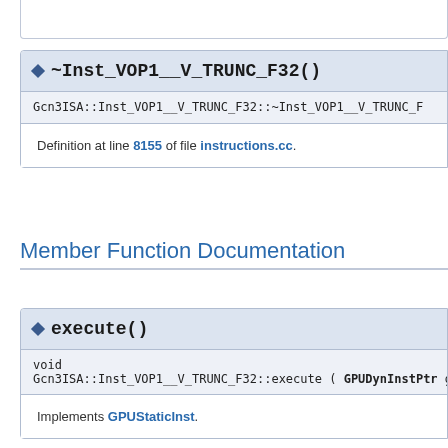~Inst_VOP1__V_TRUNC_F32()
Gcn3ISA::Inst_VOP1__V_TRUNC_F32::~Inst_VOP1__V_TRUNC_F
Definition at line 8155 of file instructions.cc.
Member Function Documentation
execute()
void
Gcn3ISA::Inst_VOP1__V_TRUNC_F32::execute ( GPUDynInstPtr g
Implements GPUStaticInst.